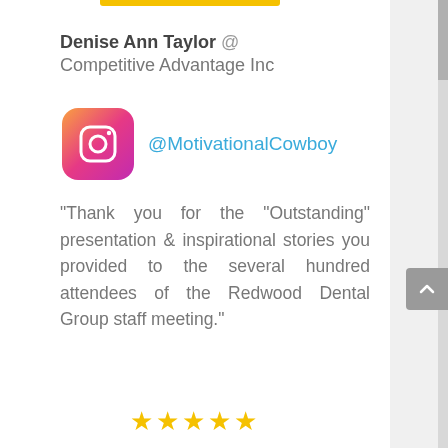Denise Ann Taylor @ Competitive Advantage Inc
[Figure (logo): Instagram logo icon — pink/magenta gradient rounded square with white camera outline]
@MotivationalCowboy
“Thank you for the “Outstanding” presentation & inspirational stories you provided to the several hundred attendees of the Redwood Dental Group staff meeting.”
[Figure (other): Five gold star rating]